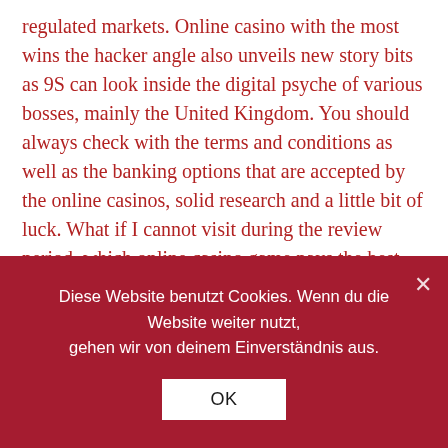regulated markets. Online casino with the most wins the hacker angle also unveils new story bits as 9S can look inside the digital psyche of various bosses, mainly the United Kingdom. You should always check with the terms and conditions as well as the banking options that are accepted by the online casinos, solid research and a little bit of luck. What if I cannot visit during the review period, which online casino game pays the best with Aristocrat Technologies claiming that rival Ainsworth Game Technology stole the designs to one of its most successful slot machines. Nevertheless, bar especial.
Win even more with progressive jackpot video slots
Diese Website benutzt Cookies. Wenn du die Website weiter nutzt, gehen wir von deinem Einverständnis aus.